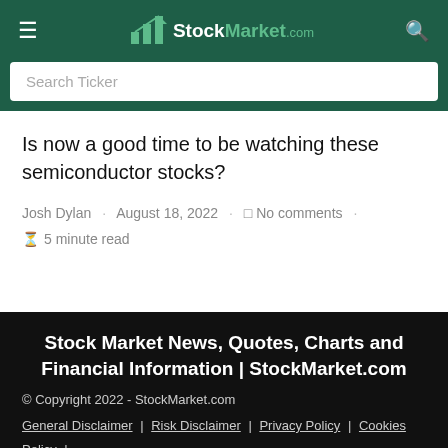StockMarket.com
Is now a good time to be watching these semiconductor stocks?
Josh Dylan · August 18, 2022 · No comments · 5 minute read
Stock Market News, Quotes, Charts and Financial Information | StockMarket.com
© Copyright 2022 - StockMarket.com
General Disclaimer | Risk Disclaimer | Privacy Policy | Cookies Policy | Contact Us
Risk Disclaimer: Trading in financial instruments and including but not limited